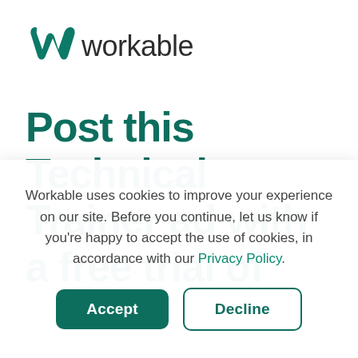[Figure (logo): Workable logo: teal stylized 'w' icon followed by the word 'workable' in dark gray]
Post this Technical Trainer ad with a free trial of
Workable uses cookies to improve your experience on our site. Before you continue, let us know if you're happy to accept the use of cookies, in accordance with our Privacy Policy.